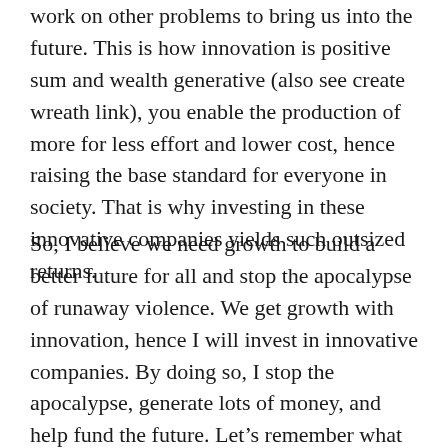work on other problems to bring us into the future. This is how innovation is positive sum and wealth generative (also see create wreath link), you enable the production of more for less effort and lower cost, hence raising the base standard for everyone in society. That is why investing in these innovative companies yields such outsized returns.
So, I believe we need growth to build a better future for all and stop the apocalypse of runaway violence. We get growth with innovation, hence I will invest in innovative companies. By doing so, I stop the apocalypse, generate lots of money, and help fund the future. Let’s remember what becoming rich really means. It is either by providing something that society values a lot or allocating resources to projects that society values a lot. This results in society rewarding you with more capital to allocate, which you can waste